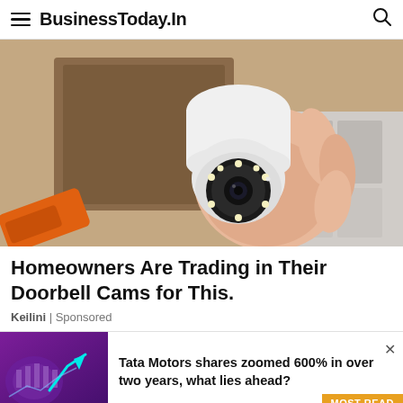BusinessToday.In
[Figure (photo): A hand holding a white egg-shaped security camera/smart home device with LED ring and camera lens, resembling a lightbulb form factor, in front of shelving.]
Homeowners Are Trading in Their Doorbell Cams for This.
Keilini | Sponsored
[Figure (photo): Thumbnail image showing a purple/violet stock market chart graphic with an upward trending arrow.]
Tata Motors shares zoomed 600% in over two years, what lies ahead?
MOST READ